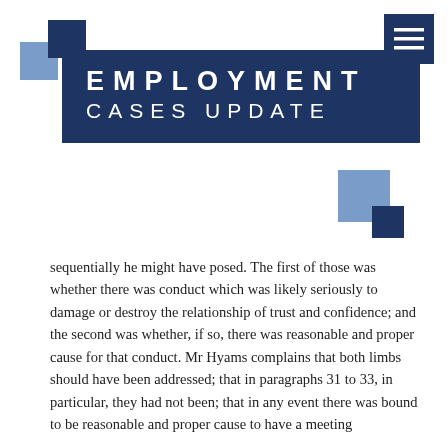[Figure (logo): Two overlapping squares logo in dark navy and light blue, top left corner]
EMPLOYMENT CASES UPDATE
[Figure (other): Hamburger menu icon button, dark navy background with three white horizontal lines, top right corner]
[Figure (illustration): Two decorative squares (light blue large, dark navy small) to the right side below the title banner]
sequentially he might have posed. The first of those was whether there was conduct which was likely seriously to damage or destroy the relationship of trust and confidence; and the second was whether, if so, there was reasonable and proper cause for that conduct. Mr Hyams complains that both limbs should have been addressed; that in paragraphs 31 to 33, in particular, they had not been; that in any event there was bound to be reasonable and proper cause to have a meeting